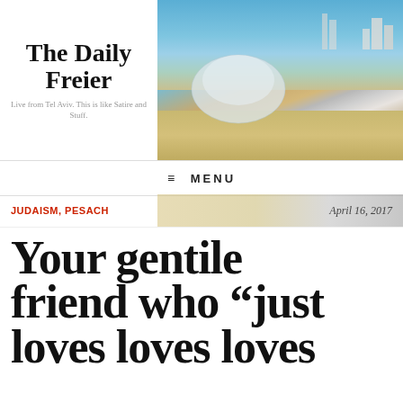The Daily Freier
Live from Tel Aviv. This is like Satire and Stuff.
[Figure (photo): Beach photo with jellyfish on sand, city skyline visible in background, blue sea and sky]
≡ MENU
JUDAISM, PESACH    April 16, 2017
Your gentile friend who "just loves loves loves